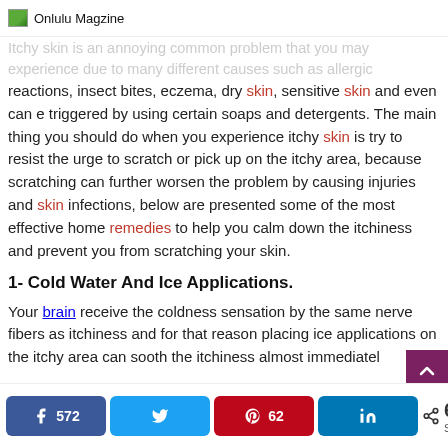Onlulu Magzine
Itchy skin is an annoying common problem that you may experience due to many different causes such as allergic reactions, insect bites, eczema, dry skin, sensitive skin and even can e triggered by using certain soaps and detergents. The main thing you should do when you experience itchy skin is try to resist the urge to scratch or pick up on the itchy area, because scratching can further worsen the problem by causing injuries and skin infections, below are presented some of the most effective home remedies to help you calm down the itchiness and prevent you from scratching your skin.
1- Cold Water And Ice Applications.
Your brain receive the coldness sensation by the same nerve fibers as itchiness and for that reason placing ice applications on the itchy area can sooth the itchiness almost immediately
572 (Facebook) | Twitter | 62 (Pinterest) | LinkedIn | < 634 SHARES